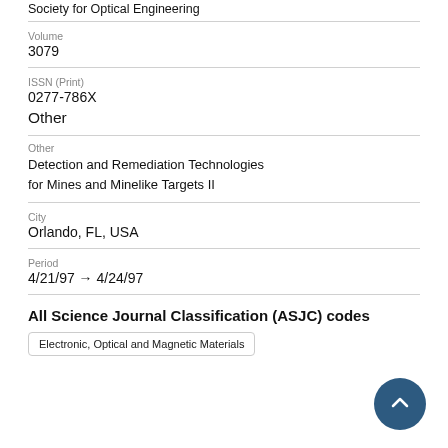Society for Optical Engineering
Volume
3079
ISSN (Print)
0277-786X
Other
Other
Detection and Remediation Technologies for Mines and Minelike Targets II
City
Orlando, FL, USA
Period
4/21/97 → 4/24/97
All Science Journal Classification (ASJC) codes
Electronic, Optical and Magnetic Materials